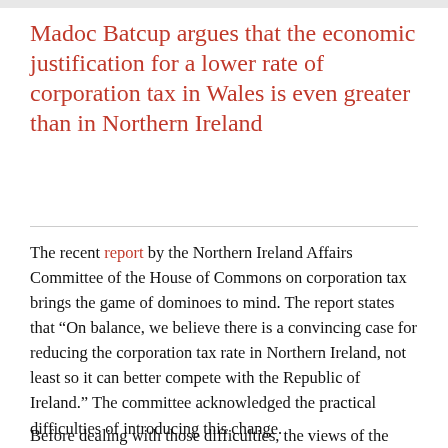Madoc Batcup argues that the economic justification for a lower rate of corporation tax in Wales is even greater than in Northern Ireland
The recent report by the Northern Ireland Affairs Committee of the House of Commons on corporation tax brings the game of dominoes to mind. The report states that “On balance, we believe there is a convincing case for reducing the corporation tax rate in Northern Ireland, not least so it can better compete with the Republic of Ireland.” The committee acknowledged the practical difficulties of introducing this change.
Before dealing with those difficulties, the views of the committee need to be examined more acutely. The Chancellor's